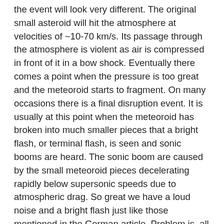the event will look very different. The original small asteroid will hit the atmosphere at velocities of ~10-70 km/s. Its passage through the atmosphere is violent as air is compressed in front of it in a bow shock. Eventually there comes a point when the pressure is too great and the meteoroid starts to fragment. On many occasions there is a final disruption event. It is usually at this point when the meteoroid has broken into much smaller pieces that a bright flash, or terminal flash, is seen and sonic booms are heard. The sonic boom are caused by the small meteoroid pieces decelerating rapidly below supersonic speeds due to atmospheric drag. So great we have a loud noise and a bright flash just like those mentioned in the German article. Problem is, all of this happens tens of miles up.